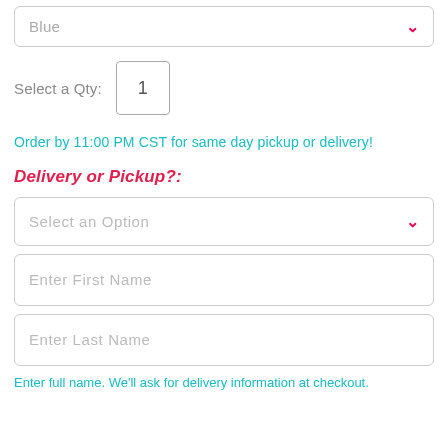Blue
Select a Qty: 1
Order by 11:00 PM CST for same day pickup or delivery!
Delivery or Pickup?:
Select an Option
Enter First Name
Enter Last Name
Enter full name. We'll ask for delivery information at checkout.